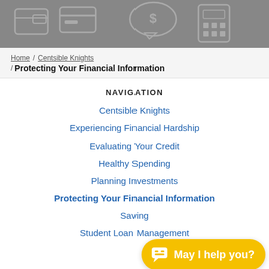[Figure (illustration): Gray banner with financial icons including a wallet, credit card, speech bubble with dollar sign, and calculator on a dark gray background]
Home / Centsible Knights / Protecting Your Financial Information
NAVIGATION
Centsible Knights
Experiencing Financial Hardship
Evaluating Your Credit
Healthy Spending
Planning Investments
Protecting Your Financial Information
Saving
Student Loan Management
[Figure (other): Yellow chat bubble button with white chat icon and text 'May I help you?']